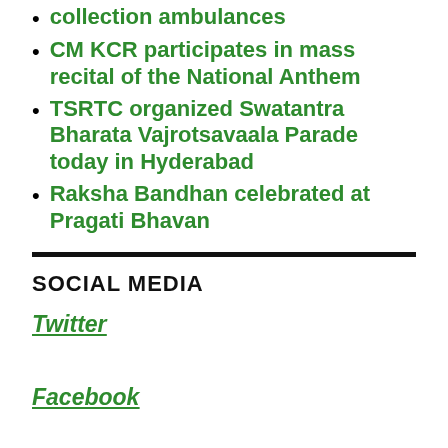collection ambulances
CM KCR participates in mass recital of the National Anthem
TSRTC organized Swatantra Bharata Vajrotsavaala Parade today in Hyderabad
Raksha Bandhan celebrated at Pragati Bhavan
SOCIAL MEDIA
Twitter
Facebook